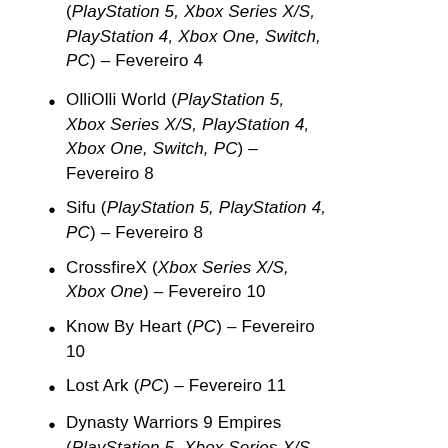(PlayStation 5, Xbox Series X/S, PlayStation 4, Xbox One, Switch, PC) – Fevereiro 4
OlliOlli World (PlayStation 5, Xbox Series X/S, PlayStation 4, Xbox One, Switch, PC) – Fevereiro 8
Sifu (PlayStation 5, PlayStation 4, PC) – Fevereiro 8
CrossfireX (Xbox Series X/S, Xbox One) – Fevereiro 10
Know By Heart (PC) – Fevereiro 10
Lost Ark (PC) – Fevereiro 11
Dynasty Warriors 9 Empires (PlayStation 5, Xbox Series X/S, PlayStation 4, Xbox One, Switch,